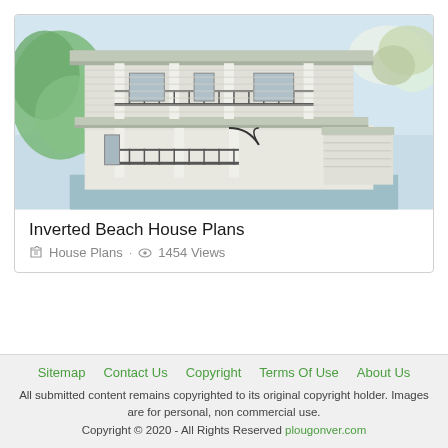[Figure (illustration): Color illustration of an inverted beach house with multiple stories, wrap-around porches with railings, white columns, green foliage on the left and right sides, and a light blue/green sky background.]
Inverted Beach House Plans
House Plans · 1454 Views
Sitemap  Contact Us  Copyright  Terms Of Use  About Us
All submitted content remains copyrighted to its original copyright holder. Images are for personal, non commercial use.
Copyright © 2020 - All Rights Reserved plougonver.com